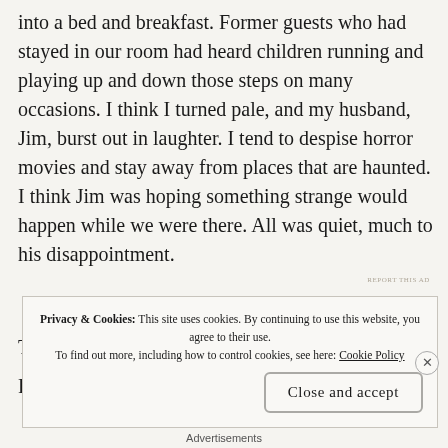into a bed and breakfast.  Former guests who had stayed in our room had heard children running and playing up and down those steps on many occasions.  I think I turned pale, and my husband, Jim, burst out in laughter. I tend to despise horror movies and stay away from places that are haunted. I think Jim was hoping something strange would happen while we were there. All was quiet, much to his disappointment.
REPORT THIS AD
T
P
Privacy & Cookies: This site uses cookies. By continuing to use this website, you agree to their use.
To find out more, including how to control cookies, see here: Cookie Policy
Close and accept
Advertisements